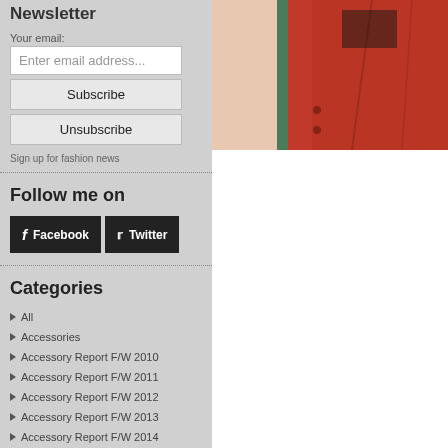Newsletter
Your email:
Enter email address...
Subscribe
Unsubscribe
Sign up for fashion news
Follow me on
Facebook
Twitter
Categories
All
Accessories
Accessory Report F/W 2010
Accessory Report F/W 2011
Accessory Report F/W 2012
Accessory Report F/W 2013
Accessory Report F/W 2014
Accessory Report F/W 2015
[Figure (photo): Fashion photo showing a person wearing a red/orange jacket with a black patch, with a green accent visible]